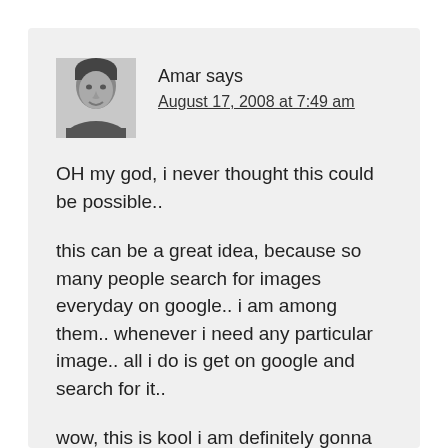[Figure (photo): Black and white avatar photo of a person named Amar]
Amar says
August 17, 2008 at 7:49 am
OH my god, i never thought this could be possible..
this can be a great idea, because so many people search for images everyday on google.. i am among them.. whenever i need any particular image.. all i do is get on google and search for it..
wow, this is kool i am definitely gonna give it a try